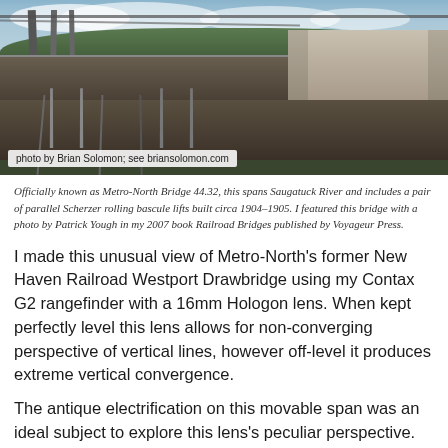[Figure (photo): Railroad bridge over Saugatuck River showing Metro-North Bridge 44.32 with parallel Scherzer rolling bascule lifts, electrification overhead, tracks in foreground, taken from an elevated angle with autumn trees and cloudy sky in background.]
photo by Brian Solomon; see briansolomon.com
Officially known as Metro-North Bridge 44.32, this spans Saugatuck River and includes a pair of parallel Scherzer rolling bascule lifts built circa 1904–1905. I featured this bridge with a photo by Patrick Yough in my 2007 book Railroad Bridges published by Voyageur Press.
I made this unusual view of Metro-North's former New Haven Railroad Westport Drawbridge using my Contax G2 rangefinder with a 16mm Hologon lens. When kept perfectly level this lens allows for non-converging perspective of vertical lines, however off-level it produces extreme vertical convergence.
The antique electrification on this movable span was an ideal subject to explore this lens's peculiar perspective. My vantage point was from a public walkway easily accessed from the westbound platform MN's Westport Station. I'd first